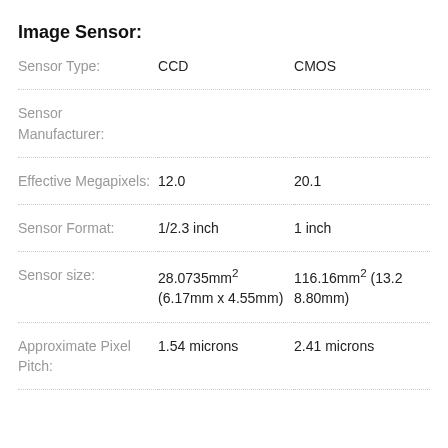Image Sensor:
|  | CCD | CMOS |
| --- | --- | --- |
| Sensor Type: | CCD | CMOS |
| Sensor Manufacturer: |  |  |
| Effective Megapixels: | 12.0 | 20.1 |
| Sensor Format: | 1/2.3 inch | 1 inch |
| Sensor size: | 28.0735mm² (6.17mm x 4.55mm) | 116.16mm² (13.2 8.80mm) |
| Approximate Pixel Pitch: | 1.54 microns | 2.41 microns |